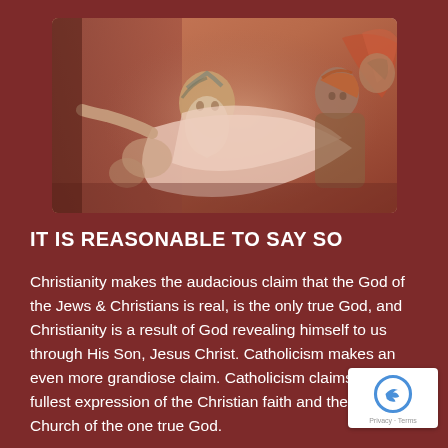[Figure (illustration): A detail from Michelangelo's Sistine Chapel ceiling painting, showing God (an elderly bearded figure in flowing pink robes) surrounded by angels and other figures against a dramatic background.]
IT IS REASONABLE TO SAY SO
Christianity makes the audacious claim that the God of the Jews & Christians is real, is the only true God, and Christianity is a result of God revealing himself to us through His Son, Jesus Christ. Catholicism makes an even more grandiose claim. Catholicism claims to be the fullest expression of the Christian faith and the one true Church of the one true God.